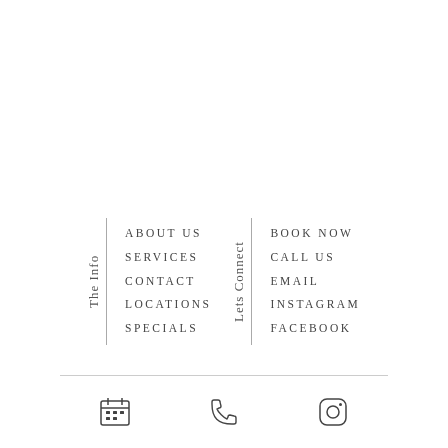The Info
ABOUT US
SERVICES
CONTACT
LOCATIONS
SPECIALS
Lets Connect
BOOK NOW
CALL US
EMAIL
INSTAGRAM
FACEBOOK
[Figure (illustration): Three icons in a row at the bottom: a calendar icon, a phone/call icon, and an Instagram icon]